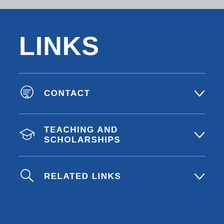LINKS
CONTACT
TEACHING AND SCHOLARSHIPS
RELATED LINKS